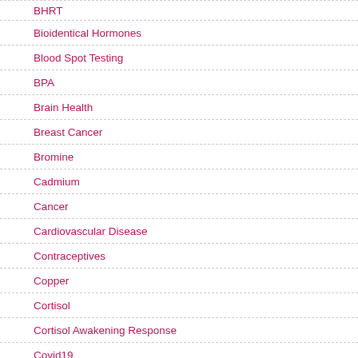BHRT
Bioidentical Hormones
Blood Spot Testing
BPA
Brain Health
Breast Cancer
Bromine
Cadmium
Cancer
Cardiovascular Disease
Contraceptives
Copper
Cortisol
Cortisol Awakening Response
Covid19
Depression
DHEA